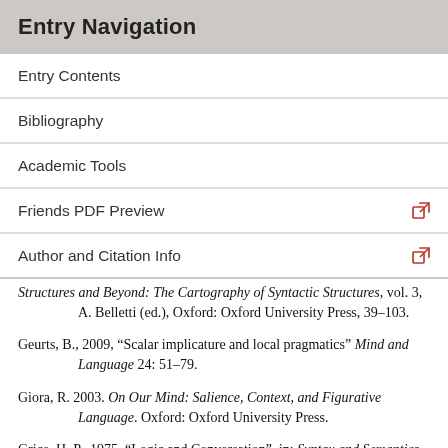Entry Navigation
Entry Contents
Bibliography
Academic Tools
Friends PDF Preview
Author and Citation Info
Structures and Beyond: The Cartography of Syntactic Structures, vol. 3, A. Belletti (ed.), Oxford: Oxford University Press, 39–103.
Geurts, B., 2009, “Scalar implicature and local pragmatics” Mind and Language 24: 51–79.
Giora, R. 2003. On Our Mind: Salience, Context, and Figurative Language. Oxford: Oxford University Press.
Grice, H. P., 1975, “Logic and Conversation”, in: Syntax and Semantics, vol. 3, P. Cole & J. L. Morgan (eds),